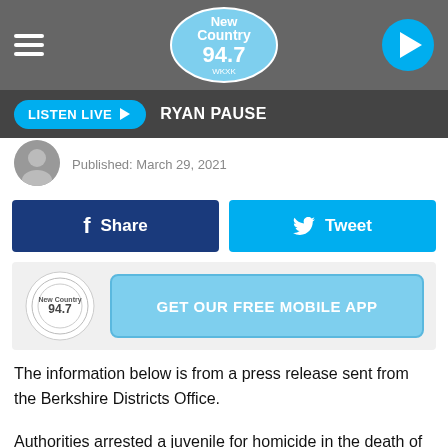New Country 94.7
LISTEN LIVE ▶  RYAN PAUSE
Published: March 29, 2021
Share
Tweet
GET OUR FREE MOBILE APP
The information below is from a press release sent from the Berkshire Districts Office.
Authorities arrested a juvenile for homicide in the death of Benjamin Martinez, 34, of Springfield. The State Police Detective Unit assigned to the Berkshire District Attorney's Office and the Pittsfield Police and the Springfield